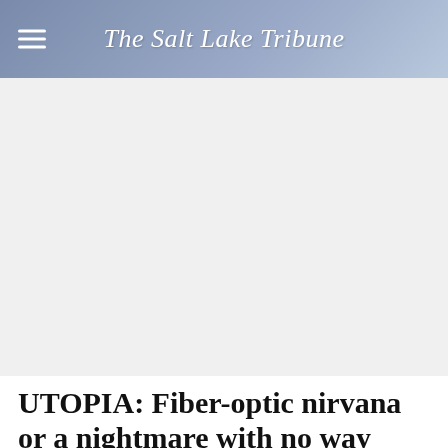The Salt Lake Tribune
[Figure (other): Advertisement banner area (gray placeholder)]
UTOPIA: Fiber-optic nirvana or a nightmare with no way out?